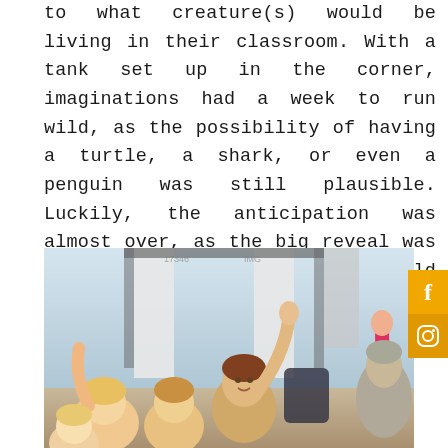to what creature(s) would be living in their classroom. With a tank set up in the corner, imaginations had a week to run wild, as the possibility of having a turtle, a shark, or even a penguin was still plausible. Luckily, the anticipation was almost over, as the big reveal was imminent. Soon, the students would find out what would be living in that tank.
[Figure (photo): Classroom photo showing young students enthusiastically raising their hands, with a boy in the center and other children around him, curtained windows visible in the background, and what appears to be a teacher on the right side.]